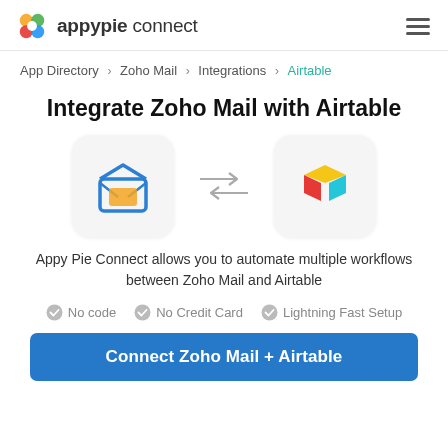appypie connect
App Directory > Zoho Mail > Integrations > Airtable
Integrate Zoho Mail with Airtable
[Figure (illustration): Zoho Mail icon (envelope) and Airtable icon (colorful 3D shape) with bidirectional arrows between them]
Appy Pie Connect allows you to automate multiple workflows between Zoho Mail and Airtable
No code
No Credit Card
Lightning Fast Setup
Connect Zoho Mail + Airtable